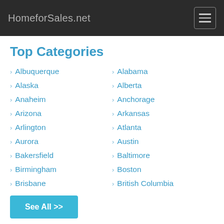HomeforSales.net
Top Categories
Albuquerque
Alabama
Alaska
Alberta
Anaheim
Anchorage
Arizona
Arkansas
Arlington
Atlanta
Aurora
Austin
Bakersfield
Baltimore
Birmingham
Boston
Brisbane
British Columbia
See All >>
Recently Searched